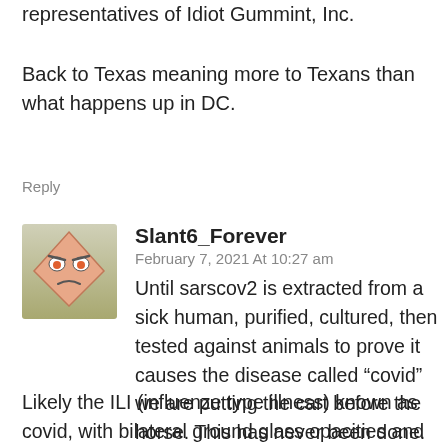representatives of Idiot Gummint, Inc.
Back to Texas meaning more to Texans than what happens up in DC.
Reply
[Figure (illustration): User avatar showing a cartoon face diamond/rhombus shape with angry eyes and a frown, on a gradient beige-green background]
Slant6_Forever
February 7, 2021 At 10:27 am
Until sarscov2 is extracted from a sick human, purified, cultured, then tested against animals to prove it causes the disease called “covid” we are putting the cart before the horse. This has never been done.
Likely the ILI (influenze type illness) known as covid, with bilateral ground glass opacities and other inflammatory markers, is another virus or group of viruses. And since the statistics clearly